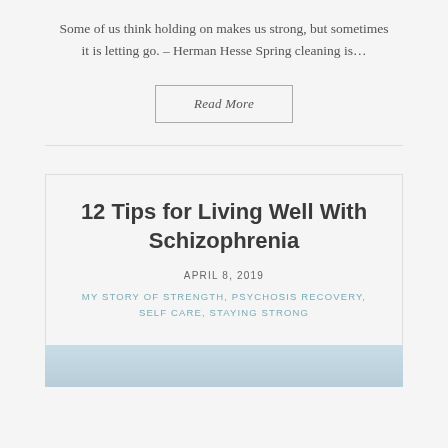Some of us think holding on makes us strong, but sometimes it is letting go. – Herman Hesse Spring cleaning is…
Read More
12 Tips for Living Well With Schizophrenia
APRIL 8, 2019
MY STORY OF STRENGTH, PSYCHOSIS RECOVERY, SELF CARE, STAYING STRONG
[Figure (photo): Light blue gradient image strip at bottom of article card]